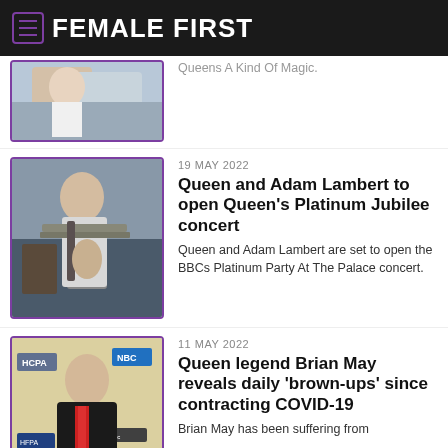FEMALE FIRST
Queens A Kind Of Magic.
[Figure (photo): Person playing electric guitar on stage, wearing white/silver outfit]
19 MAY 2022
Queen and Adam Lambert to open Queen's Platinum Jubilee concert
Queen and Adam Lambert are set to open the BBCs Platinum Party At The Palace concert.
[Figure (photo): Man in black suit with red tie at awards event, HCPA and NBC logos visible in background]
11 MAY 2022
Queen legend Brian May reveals daily 'brown-ups' since contracting COVID-19
Brian May has been suffering from